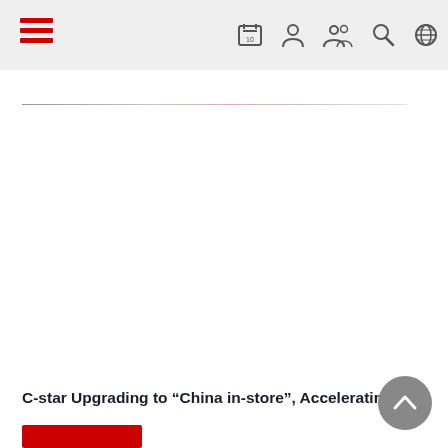Navigation bar with hamburger menu and icons
[Figure (screenshot): Obscured/blurred content area below navigation bar showing a faint horizontal divider line]
C-star Upgrading to “China in-store”, Accelerating...